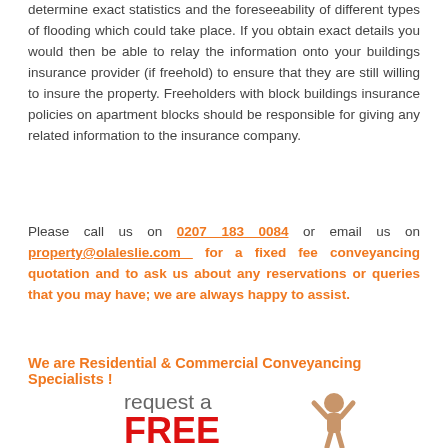determine exact statistics and the foreseeability of different types of flooding which could take place. If you obtain exact details you would then be able to relay the information onto your buildings insurance provider (if freehold) to ensure that they are still willing to insure the property. Freeholders with block buildings insurance policies on apartment blocks should be responsible for giving any related information to the insurance company.
Please call us on 0207 183 0084 or email us on property@olaleslie.com for a fixed fee conveyancing quotation and to ask us about any reservations or queries that you may have; we are always happy to assist.
We are Residential & Commercial Conveyancing Specialists !
[Figure (illustration): Promotional graphic showing 'request a FREE' text with an image of a person raising their arms, used as a call-to-action banner.]